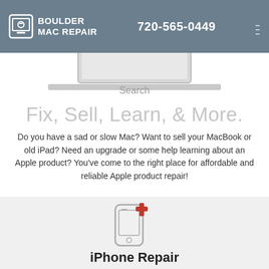BOULDER MAC REPAIR — Call or text: 720-565-0449
[Figure (screenshot): Partial laptop image with Search text overlay]
Fix, Sell, Learn, & More.
Do you have a sad or slow Mac? Want to sell your MacBook or old iPad? Need an upgrade or some help learning about an Apple product? You've come to the right place for affordable and reliable Apple product repair!
[Figure (illustration): Outline icon of an iPhone with a red medical cross symbol in upper right corner]
iPhone Repair
Screens shatter. Batteries weaken. We know you probably live on